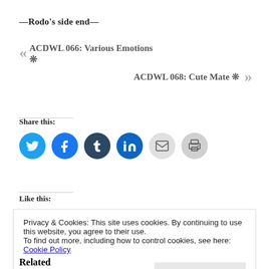—Rodo's side end—
« ACDWL 066: Various Emotions ❊
ACDWL 068: Cute Mate ❊ »
Share this:
[Figure (infographic): Row of 6 circular social share icons: Twitter (blue), Facebook (blue), Tumblr (dark blue), LinkedIn (blue), Email (light grey), Print (grey)]
Like this:
Privacy & Cookies: This site uses cookies. By continuing to use this website, you agree to their use. To find out more, including how to control cookies, see here: Cookie Policy
Close and accept
Related